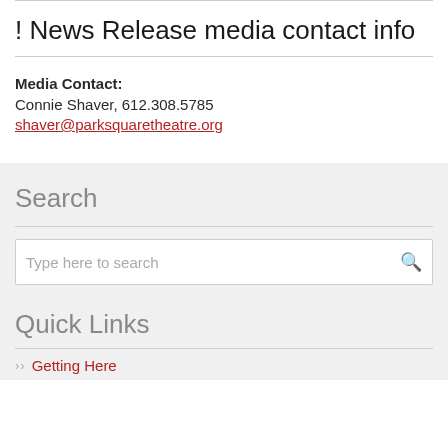! News Release media contact info
Media Contact:
Connie Shaver, 612.308.5785
shaver@parksquaretheatre.org
Search
Type here to search
Quick Links
Getting Here